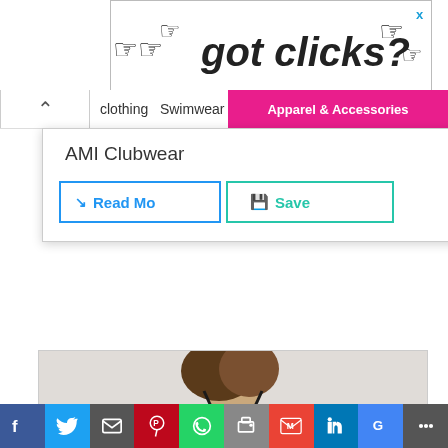[Figure (photo): Advertisement banner with 'got clicks?' text and pointing hand cursor icons]
Clothing  Swimwear
AMI Clubwear
Read Mo   Save
[Figure (photo): Model wearing black lace bralette crop top and blue satin shorts/pants]
f  Twitter  Email  Pinterest  WhatsApp  Print  Gmail  LinkedIn  Google  More